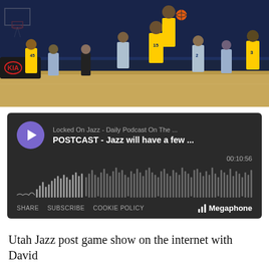[Figure (photo): NBA basketball game action shot showing Utah Jazz players in yellow uniforms and Philadelphia 76ers players in grey/white uniforms. Players jumping near the basket. KIA advertising banner visible on left sideline. Arena crowd in background.]
[Figure (screenshot): Podcast audio player widget with dark background. Shows 'Locked On Jazz - Daily Podcast On The ...' and 'POSTCAST - Jazz will have a few ...' title. Purple play button on left. Timestamp shows 00:10:56. Audio waveform visualization in center. Footer shows SHARE, SUBSCRIBE, COOKIE POLICY links and Megaphone logo.]
Utah Jazz post game show on the internet with David